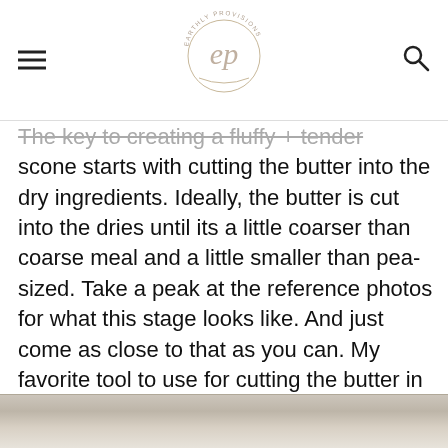Earthly Provisions (ep) logo with hamburger menu and search icon
The key to creating a fluffy + tender scone starts with cutting the butter into the dry ingredients. Ideally, the butter is cut into the dries until its a little coarser than coarse meal and a little smaller than pea-sized. Take a peak at the reference photos for what this stage looks like. And just come as close to that as you can. My favorite tool to use for cutting the butter in is my hands!
[Figure (photo): Bottom strip showing a photo of baked scones on a plate, partially visible]